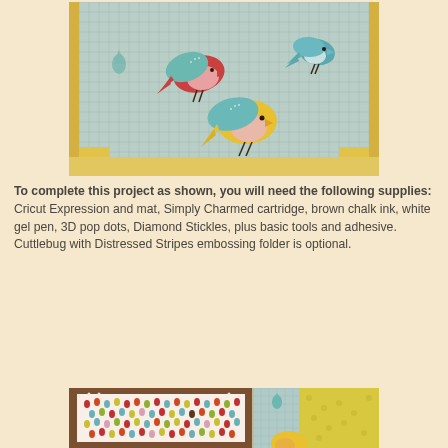[Figure (photo): Photo showing three decorative paper birds on a light teal/green checkered background. The birds are handcrafted with colorful bodies — one red and teal bird on the left, one teal bird on the upper right, and one yellow and teal bird in the center-bottom. There are small teal droplet shapes scattered around. The photo is bordered by yellow and patterned paper edges.]
To complete this project as shown, you will need the following supplies: Cricut Expression and mat, Simply Charmed cartridge, brown chalk ink, white gel pen, 3D pop dots, Diamond Stickles, plus basic tools and adhesive. Cuttlebug with Distressed Stripes embossing folder is optional.
[Figure (photo): Photo showing a framed decorative paper piece with colorful raindrop/teardrop pattern on white background inside a brown frame with white dot border details. To the right is a teal/blue patterned background with yellow polka dot paper. A small teal droplet shape is visible on the right side. A yellow bird figure is partially visible at the bottom right.]